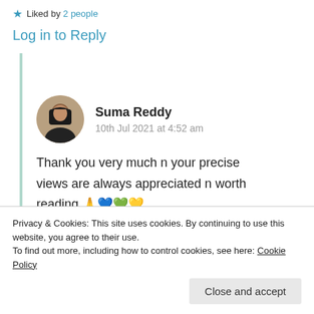★ Liked by 2 people
Log in to Reply
Suma Reddy
10th Jul 2021 at 4:52 am
Thank you very much n your precise views are always appreciated n worth reading 🙏💙💚💛
Privacy & Cookies: This site uses cookies. By continuing to use this website, you agree to their use.
To find out more, including how to control cookies, see here: Cookie Policy
Close and accept